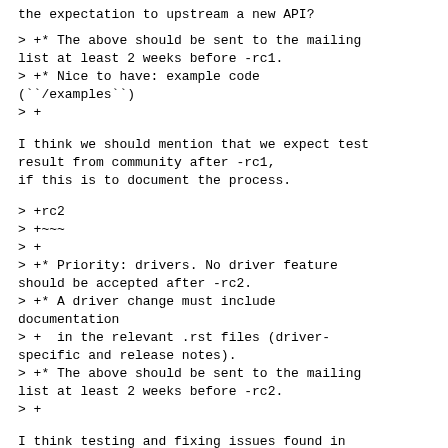the expectation to upstream a new API?
> +* The above should be sent to the mailing list at least 2 weeks before -rc1.
> +* Nice to have: example code (``/examples``)
> +
I think we should mention that we expect test result from community after -rc1,
if this is to document the process.
> +rc2
> +~~~
> +
> +* Priority: drivers. No driver feature should be accepted after -rc2.
> +* A driver change must include documentation
> +  in the relevant .rst files (driver-specific and release notes).
> +* The above should be sent to the mailing list at least 2 weeks before -rc2.
> +
I think testing and fixing issues found in the -rc1 is the big focus of the
-rc2. But we don't mention of the testing at all. Again I guess this is based on
the confusion if these descriptions define process or todo list for the developers.